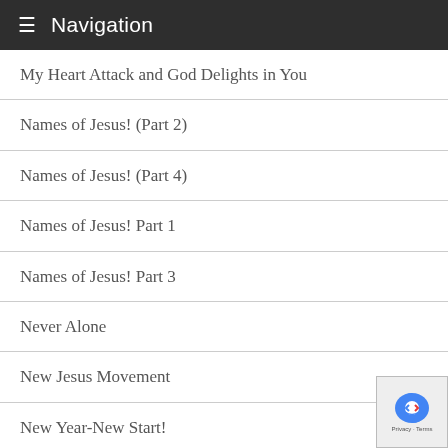Navigation
My Heart Attack and God Delights in You
Names of Jesus! (Part 2)
Names of Jesus! (Part 4)
Names of Jesus! Part 1
Names of Jesus! Part 3
Never Alone
New Jesus Movement
New Year-New Start!
Nicaragua: “The Enemy of Fear!”